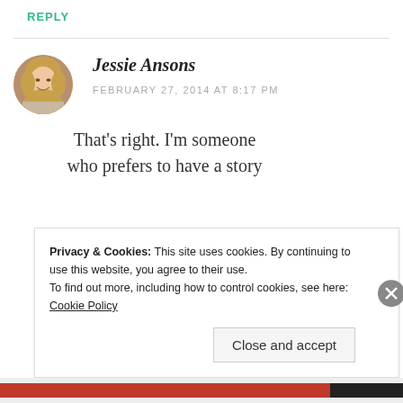REPLY
[Figure (photo): Circular avatar photo of Jessie Ansons, a woman with blonde hair smiling]
Jessie Ansons
FEBRUARY 27, 2014 AT 8:17 PM
That's right. I'm someone who prefers to have a story
Privacy & Cookies: This site uses cookies. By continuing to use this website, you agree to their use.
To find out more, including how to control cookies, see here: Cookie Policy
Close and accept